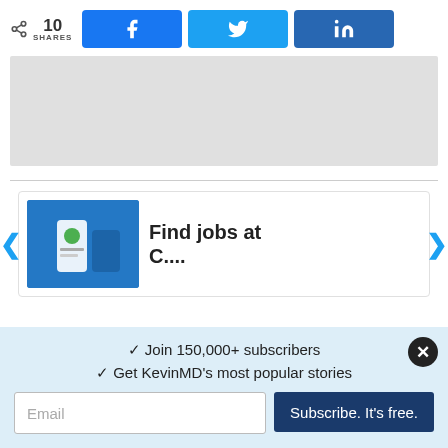[Figure (screenshot): Social share bar with share count (10 SHARES) and buttons for Facebook, Twitter, LinkedIn]
[Figure (screenshot): Gray advertisement placeholder banner]
[Figure (screenshot): Carousel card showing 'Find jobs at...' with a blue image thumbnail and left/right navigation arrows]
✓ Join 150,000+ subscribers
✓ Get KevinMD's most popular stories
Email
Subscribe. It's free.